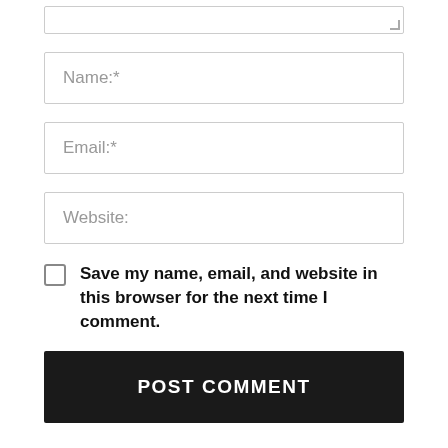(textarea top stub)
Name:*
Email:*
Website:
Save my name, email, and website in this browser for the next time I comment.
POST COMMENT
MOST POPULAR
Korakrit Arunanondchai Stages Show at Seoul's Art Sonje Center – ARTnews.com